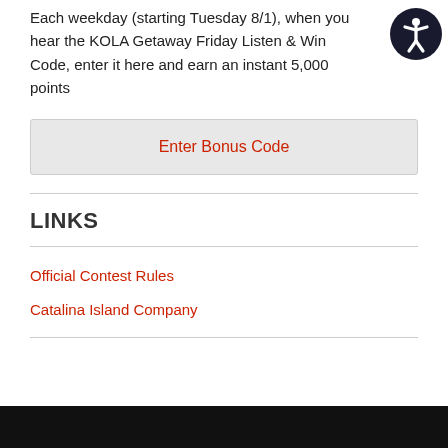Each weekday (starting Tuesday 8/1), when you hear the KOLA Getaway Friday Listen & Win Code, enter it here and earn an instant 5,000 points
[Figure (illustration): Accessibility icon: circular dark background with white human figure with arms and legs spread, standard accessibility symbol]
Enter Bonus Code
LINKS
Official Contest Rules
Catalina Island Company